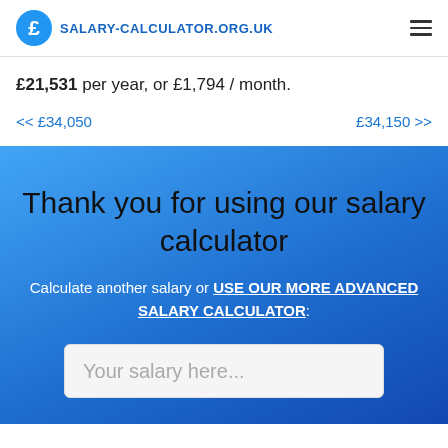SALARY-CALCULATOR.ORG.UK
£21,531 per year, or £1,794 / month.
<< £34,050   £34,150 >>
Thank you for using our salary calculator
Calculate another salary or USE OUR MORE ADVANCED SALARY CALCULATOR:
Your salary here...